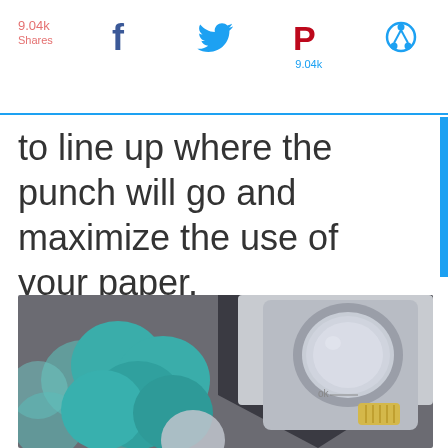9.04k Shares  [social icons: Facebook, Twitter, Pinterest, Other]  9.04k
to line up where the punch will go and maximize the use of your paper.
[Figure (photo): A grey circle paper punch tool next to a pile of teal/mint paper circles on a dark grey background. The punch has a yellow lever and a clear circular viewing window showing a glittery silver circle cut-out.]